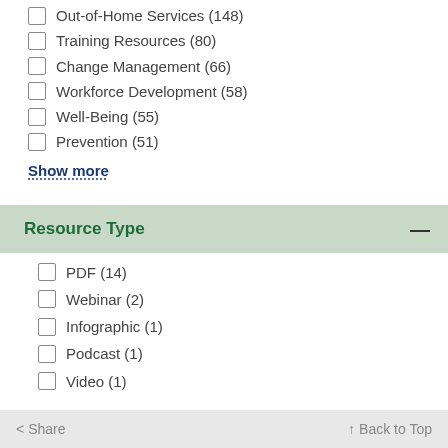Out-of-Home Services (148)
Training Resources (80)
Change Management (66)
Workforce Development (58)
Well-Being (55)
Prevention (51)
Show more
Resource Type
PDF (14)
Webinar (2)
Infographic (1)
Podcast (1)
Video (1)
Share   Back to Top